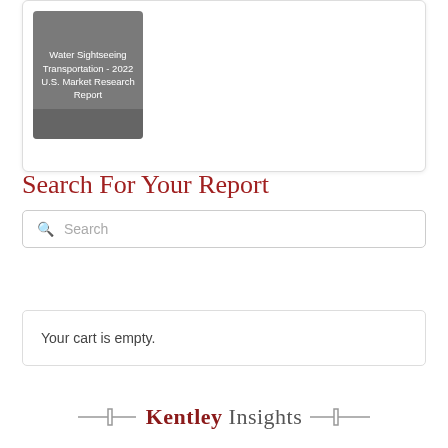[Figure (screenshot): Thumbnail image of a market research report cover titled 'Water Sightseeing Transportation - 2022 U.S. Market Research Report' shown on a gray background]
Search For Your Report
Search
Your cart is empty.
[Figure (logo): Kentley Insights logo with bracket decorations and horizontal lines on either side]